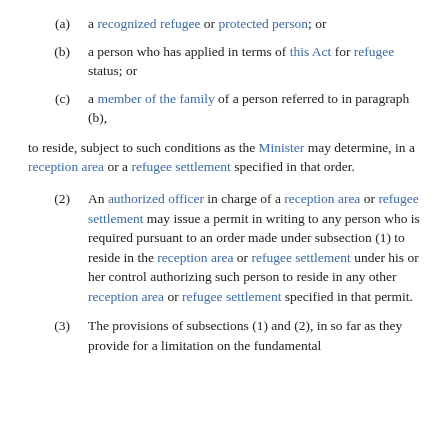(a) a recognized refugee or protected person; or
(b) a person who has applied in terms of this Act for refugee status; or
(c) a member of the family of a person referred to in paragraph (b),
to reside, subject to such conditions as the Minister may determine, in a reception area or a refugee settlement specified in that order.
(2) An authorized officer in charge of a reception area or refugee settlement may issue a permit in writing to any person who is required pursuant to an order made under subsection (1) to reside in the reception area or refugee settlement under his or her control authorizing such person to reside in any other reception area or refugee settlement specified in that permit.
(3) The provisions of subsections (1) and (2), in so far as they provide for a limitation on the fundamental